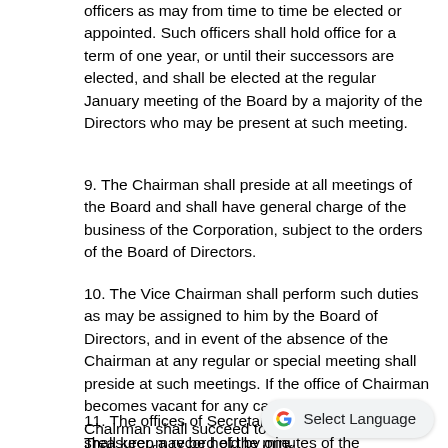officers as may from time to time be elected or appointed. Such officers shall hold office for a term of one year, or until their successors are elected, and shall be elected at the regular January meeting of the Board by a majority of the Directors who may be present at such meeting.
9. The Chairman shall preside at all meetings of the Board and shall have general charge of the business of the Corporation, subject to the orders of the Board of Directors.
10. The Vice Chairman shall perform such duties as may be assigned to him by the Board of Directors, and in event of the absence of the Chairman at any regular or special meeting shall preside at such meetings. If the office of Chairman becomes vacant for any cause, the Vice Chairman shall succeed to said office for the balance of the term of such office.
11. The offices of Secretary and Treasurer may be held by one person, if so ordered by the Board of Directors. The Secretary shall keep a record of the minutes of the proceedings and